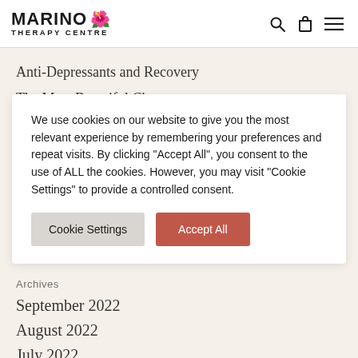MARINO THERAPY CENTRE
Anti-Depressants and Recovery
The Most Beautiful Chance
We use cookies on our website to give you the most relevant experience by remembering your preferences and repeat visits. By clicking “Accept All”, you consent to the use of ALL the cookies. However, you may visit "Cookie Settings" to provide a controlled consent.
Archives
September 2022
August 2022
July 2022